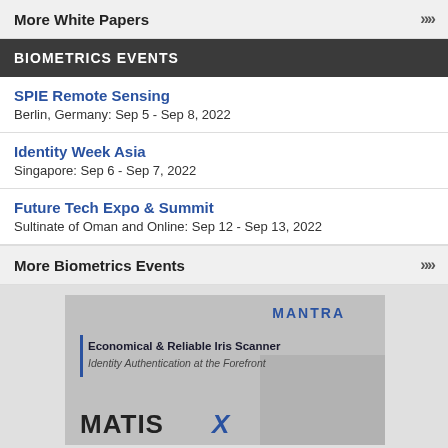More White Papers
BIOMETRICS EVENTS
SPIE Remote Sensing
Berlin, Germany: Sep 5 - Sep 8, 2022
Identity Week Asia
Singapore: Sep 6 - Sep 7, 2022
Future Tech Expo & Summit
Sultinate of Oman and Online: Sep 12 - Sep 13, 2022
More Biometrics Events
[Figure (illustration): Advertisement for Mantra MATISX iris scanner. Shows 'MANTRA' logo in blue, text 'Economical & Reliable Iris Scanner' and 'Identity Authentication at the Forefront' with a blue left border accent, and 'MATISX' text at bottom with a stylized X, alongside a silhouette of a person at a computer.]